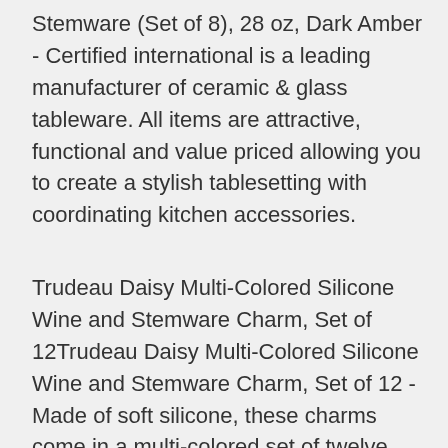Stemware (Set of 8), 28 oz, Dark Amber - Certified international is a leading manufacturer of ceramic & glass tableware. All items are attractive, functional and value priced allowing you to create a stylish tablesetting with coordinating kitchen accessories.
Trudeau Daisy Multi-Colored Silicone Wine and Stemware Charm, Set of 12Trudeau Daisy Multi-Colored Silicone Wine and Stemware Charm, Set of 12 - Made of soft silicone, these charms come in a multi-colored set of twelve. Have a fun evening of wine tasting with these daisy shaped wine charms from trudeau. 3-3/4" l. The charms are dishwasher safe and backed by a five year warranty from the manufacturer